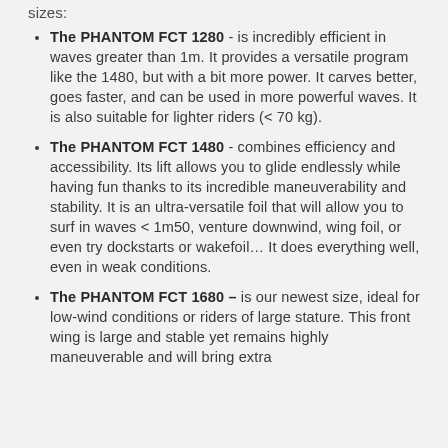sizes:
The PHANTOM FCT 1280 - is incredibly efficient in waves greater than 1m. It provides a versatile program like the 1480, but with a bit more power. It carves better, goes faster, and can be used in more powerful waves. It is also suitable for lighter riders (< 70 kg).
The PHANTOM FCT 1480 - combines efficiency and accessibility. Its lift allows you to glide endlessly while having fun thanks to its incredible maneuverability and stability. It is an ultra-versatile foil that will allow you to surf in waves < 1m50, venture downwind, wing foil, or even try dockstarts or wakefoil… It does everything well, even in weak conditions.
The PHANTOM FCT 1680 - is our newest size, ideal for low-wind conditions or riders of large stature. This front wing is large and stable yet remains highly maneuverable and will bring extra